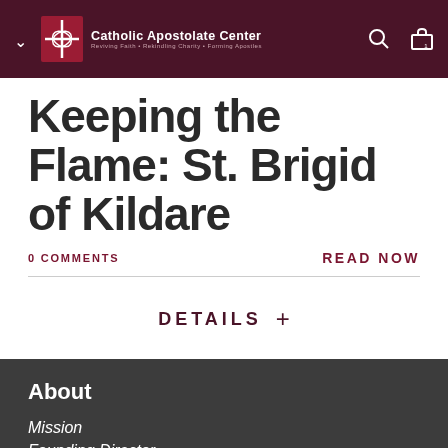Catholic Apostolate Center — Reviving Faith • Rekindling Charity • Forming Apostles
Keeping the Flame: St. Brigid of Kildare
0 COMMENTS
READ NOW
DETAILS +
About
Mission
Founding Director
Staff Listing